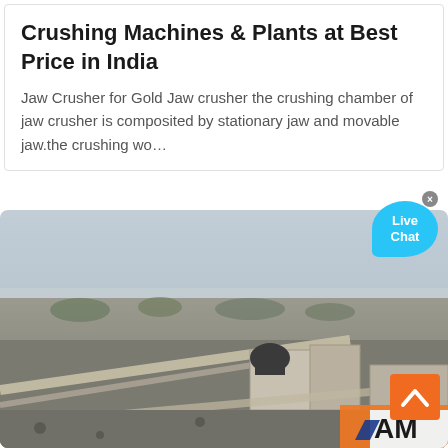Crushing Machines & Plants at Best Price in India
Jaw Crusher for Gold Jaw crusher the crushing chamber of jaw crusher is composited by stationary jaw and movable jaw.the crushing wo…
[Figure (photo): Outdoor photo of a stone crushing plant/machinery setup in an open quarry area, with conveyor belts, crushing equipment, rocky terrain and sparse vegetation in the background under a hazy sky. A live chat bubble and scroll-to-top button overlay the image.]